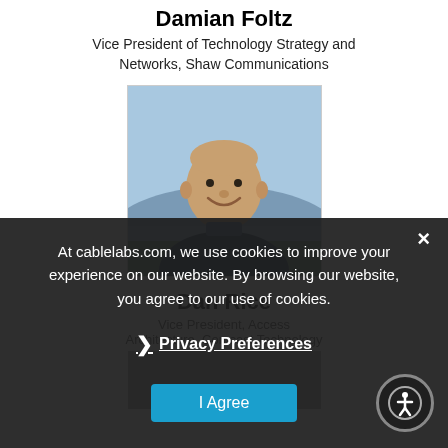Damian Foltz
Vice President of Technology Strategy and Networks, Shaw Communications
[Figure (photo): Headshot photo of Damian Foltz, a bald smiling man outdoors with mountains/sky in background, wearing a dark zip-up jacket]
Dan Rice
Vice President, Access Architecture, Comcast Technology
[Figure (photo): Partial headshot photo of Dan Rice, partially obscured by cookie consent overlay]
At cablelabs.com, we use cookies to improve your experience on our website. By browsing our website, you agree to our use of cookies.
Privacy Preferences
I Agree